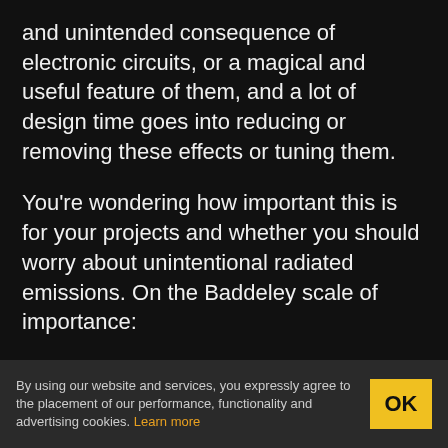and unintended consequence of electronic circuits, or a magical and useful feature of them, and a lot of design time goes into reducing or removing these effects or tuning them.
You're wondering how important this is for your projects and whether you should worry about unintentional radiated emissions. On the Baddeley scale of importance:
Pffffft – You're building a one-off project that uses battery power and a single
By using our website and services, you expressly agree to the placement of our performance, functionality and advertising cookies. Learn more